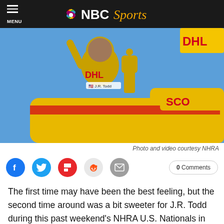NBC Sports
[Figure (photo): J.R. Todd in DHL yellow racing suit holding a gold trophy/wally, pointing one finger up, standing in front of yellow dragster car with DHL branding and partial 'SCO' text visible. Blue sky background.]
Photo and video courtesy NHRA
0 Comments
The first time may have been the best feeling, but the second time around was a bit sweeter for J.R. Todd during this past weekend's NHRA U.S. Nationals in